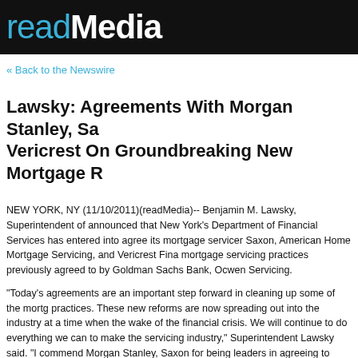readMedia
« Back to the Newswire
Lawsky: Agreements With Morgan Stanley, Sa... Vericrest On Groundbreaking New Mortgage R...
NEW YORK, NY (11/10/2011)(readMedia)-- Benjamin M. Lawsky, Superintendent of announced that New York's Department of Financial Services has entered into agree its mortgage servicer Saxon, American Home Mortgage Servicing, and Vericrest Fina mortgage servicing practices previously agreed to by Goldman Sachs Bank, Ocwen Servicing.
"Today's agreements are an important step forward in cleaning up some of the mortg practices. These new reforms are now spreading out into the industry at a time when the wake of the financial crisis. We will continue to do everything we can to make the servicing industry," Superintendent Lawsky said. "I commend Morgan Stanley, Saxon for being leaders in agreeing to implement this new higher standard to protect homeo others in the industry to follow their lead."